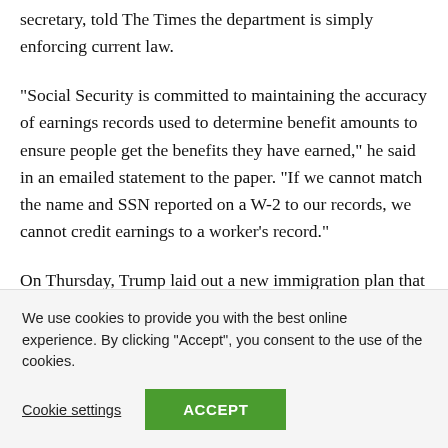secretary, told The Times the department is simply enforcing current law.
“Social Security is committed to maintaining the accuracy of earnings records used to determine benefit amounts to ensure people get the benefits they have earned,” he said in an emailed statement to the paper. “If we cannot match the name and SSN reported on a W-2 to our records, we cannot credit earnings to a worker’s record.”
On Thursday, Trump laid out a new immigration plan that would push the United States toward the kind of merit-based
We use cookies to provide you with the best online experience. By clicking “Accept”, you consent to the use of the cookies.
Cookie settings
ACCEPT